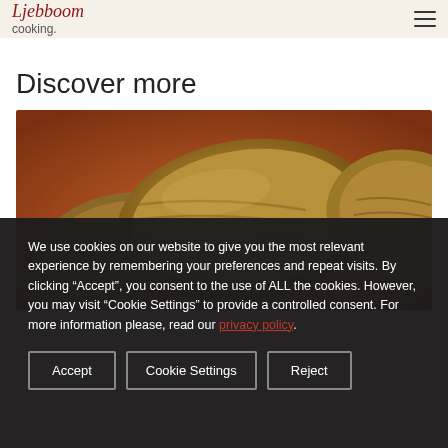cooking.
Discover more
[Figure (photo): Close-up photo of stuffed cabbage rolls in tomato sauce, warm golden-brown tones]
We use cookies on our website to give you the most relevant experience by remembering your preferences and repeat visits. By clicking “Accept”, you consent to the use of ALL the cookies. However, you may visit "Cookie Settings" to provide a controlled consent. For more information please, read our privacy policy.
Accept
Cookie Settings
Reject